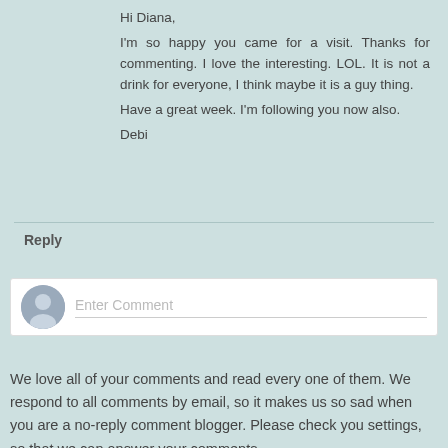Hi Diana,
I'm so happy you came for a visit. Thanks for commenting. I love the interesting. LOL. It is not a drink for everyone, I think maybe it is a guy thing.
Have a great week. I'm following you now also.
Debi
Reply
[Figure (other): Comment input box with user avatar silhouette and placeholder text 'Enter Comment']
We love all of your comments and read every one of them. We respond to all comments by email, so it makes us so sad when you are a no-reply comment blogger. Please check you settings, so that we can answer your comments.